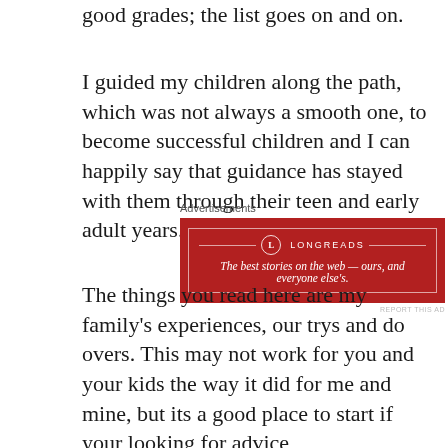good grades; the list goes on and on.
I guided my children along the path, which was not always a smooth one, to become successful children and I can happily say that guidance has stayed with them through their teen and early adult years.
[Figure (other): Longreads advertisement banner: red background with white border, Longreads logo and tagline 'The best stories on the web — ours, and everyone else's.']
The things you read here are my family's experiences, our trys and do overs.  This may not work for you and your kids the way it did for me and mine, but its a good place to start if your looking for advice, encouragement or just